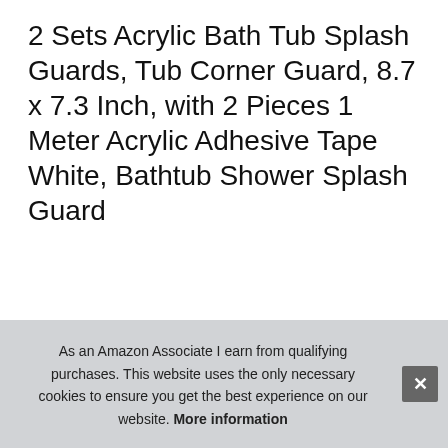2 Sets Acrylic Bath Tub Splash Guards, Tub Corner Guard, 8.7 x 7.3 Inch, with 2 Pieces 1 Meter Acrylic Adhesive Tape White, Bathtub Shower Splash Guard
#ad
[Figure (photo): Four product thumbnail images showing acrylic bath tub splash guards: (1) white acrylic splash guard with adhesive tape on black background with product specs, (2) splash guard installed at tub corner in bathroom, (3) person peeling backing from adhesive tape on black background, (4) bathtub with shower faucet in tiled bathroom]
Blu...
tape... gua...
Practical: the tub splash guard can prevent splashing of water...
As an Amazon Associate I earn from qualifying purchases. This website uses the only necessary cookies to ensure you get the best experience on our website. More information